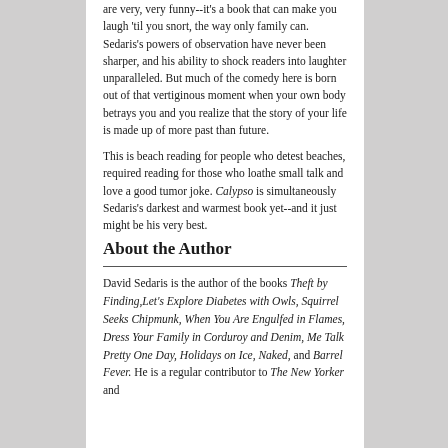are very, very funny--it's a book that can make you laugh 'til you snort, the way only family can. Sedaris's powers of observation have never been sharper, and his ability to shock readers into laughter unparalleled. But much of the comedy here is born out of that vertiginous moment when your own body betrays you and you realize that the story of your life is made up of more past than future.

This is beach reading for people who detest beaches, required reading for those who loathe small talk and love a good tumor joke. Calypso is simultaneously Sedaris's darkest and warmest book yet--and it just might be his very best.
About the Author
David Sedaris is the author of the books Theft by Finding, Let's Explore Diabetes with Owls, Squirrel Seeks Chipmunk, When You Are Engulfed in Flames, Dress Your Family in Corduroy and Denim, Me Talk Pretty One Day, Holidays on Ice, Naked, and Barrel Fever. He is a regular contributor to The New Yorker and